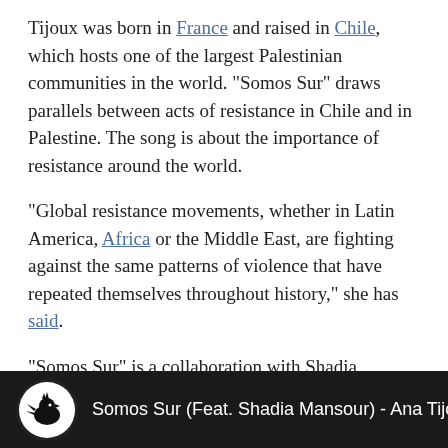Tijoux was born in France and raised in Chile, which hosts one of the largest Palestinian communities in the world. “Somos Sur” draws parallels between acts of resistance in Chile and in Palestine. The song is about the importance of resistance around the world.
“Global resistance movements, whether in Latin America, Africa or the Middle East, are fighting against the same patterns of violence that have repeated themselves throughout history,” she has said.
“Somos Sur” is a collaboration with Shadia Mansour, a British-born Palestinian rapper, and is performed in Spanish and Arabic.
[Figure (screenshot): Video bar showing music player with squirrel/rooster logo icon and title: Somos Sur (Feat. Shadia Mansour) - Ana Tijou]